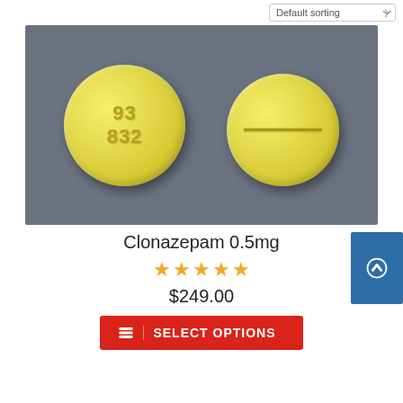Default sorting
[Figure (photo): Two yellow round tablets of Clonazepam 0.5mg on a gray background. Left tablet shows imprint '93 832' on the front face. Right tablet shows the back face with a score/split line across the middle.]
Clonazepam 0.5mg
★★★★★
$249.00
SELECT OPTIONS